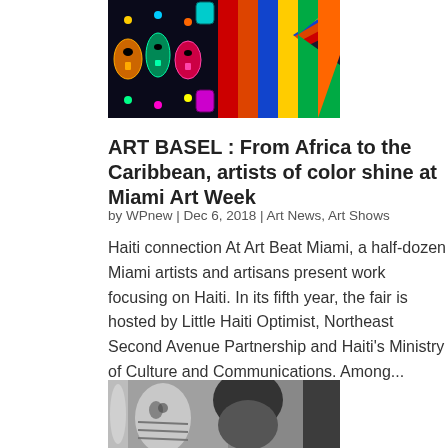[Figure (photo): Colorful abstract artwork with tribal masks and geometric patterns in bright colors including red, blue, green, yellow, and teal — viewed from the bottom portion of the image]
ART BASEL : From Africa to the Caribbean, artists of color shine at Miami Art Week
by WPnew | Dec 6, 2018 | Art News, Art Shows
Haiti connection At Art Beat Miami, a half-dozen Miami artists and artisans present work focusing on Haiti. In its fifth year, the fair is hosted by Little Haiti Optimist, Northeast Second Avenue Partnership and Haiti's Ministry of Culture and Communications. Among...
[Figure (photo): Black and white photograph showing a person's profile alongside what appears to be African or Haitian art masks/sculptures]